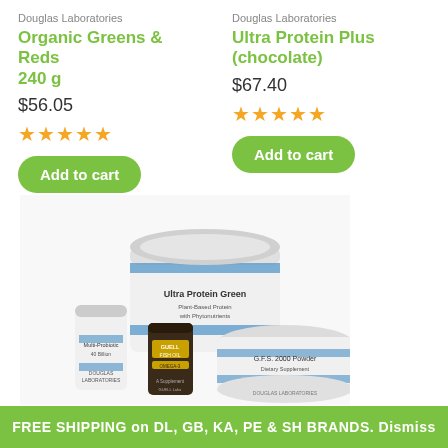Douglas Laboratories
Organic Greens & Reds 240 g
$56.05
[Figure (other): 5 star rating for Organic Greens & Reds]
Add to cart
Douglas Laboratories
Ultra Protein Plus (chocolate)
$67.40
[Figure (other): 5 star rating for Ultra Protein Plus chocolate]
Add to cart
[Figure (photo): Douglas Laboratories product group image showing Ultra Protein Green powder, Multi-Probiotic, GUELL Fish Oil, and G.F.S. 2000 Powder supplements]
FREE SHIPPING on DL, GB, KA, PE & SH BRANDS. Dismiss